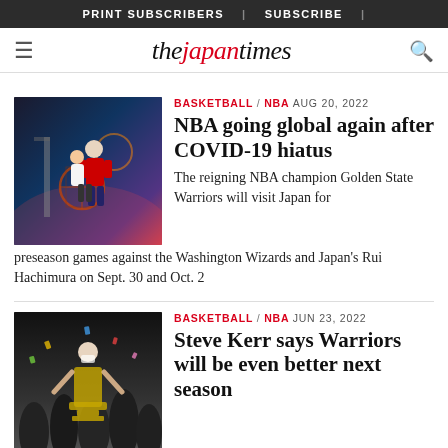PRINT SUBSCRIBERS | SUBSCRIBE |
the japan times
BASKETBALL / NBA AUG 20, 2022
NBA going global again after COVID-19 hiatus
The reigning NBA champion Golden State Warriors will visit Japan for preseason games against the Washington Wizards and Japan's Rui Hachimura on Sept. 30 and Oct. 2
BASKETBALL / NBA JUN 23, 2022
Steve Kerr says Warriors will be even better next season
"My experience is that when you win a championship, you get better the next